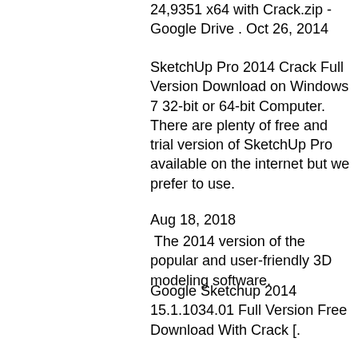24,9351 x64 with Crack.zip - Google Drive . Oct 26, 2014
SketchUp Pro 2014 Crack Full Version Download on Windows 7 32-bit or 64-bit Computer. There are plenty of free and trial version of SketchUp Pro available on the internet but we prefer to use.
Aug 18, 2018
The 2014 version of the popular and user-friendly 3D modeling software.
Google Sketchup 2014 15.1.1034.01 Full Version Free Download With Crack [.
Want a free version of Google SketchUp? Want to download the most popular free 3D modeling software? We've got you covered. [UPDATE: January 20, 2018] This review has been edited to incorporate new Free downloads of Sketchup Pro 2014 v12.1.1632.08.
Jun 16, 2015
SketchUp Pro 2014 Crack Full Version